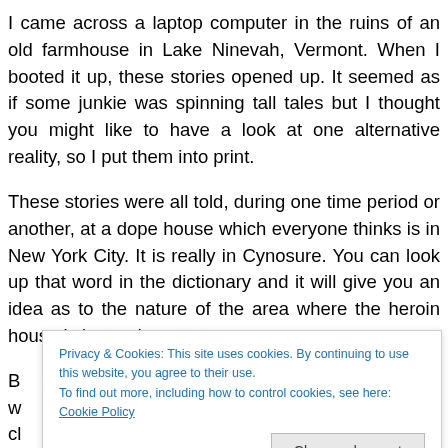I came across a laptop computer in the ruins of an old farmhouse in Lake Ninevah, Vermont. When I booted it up, these stories opened up. It seemed as if some junkie was spinning tall tales but I thought you might like to have a look at one alternative reality, so I put them into print.
These stories were all told, during one time period or another, at a dope house which everyone thinks is in New York City. It is really in Cynosure. You can look up that word in the dictionary and it will give you an idea as to the nature of the area where the heroin house is located.
B... ly w... a cl... e tr... e w...tten by a dope house.
Privacy & Cookies: This site uses cookies. By continuing to use this website, you agree to their use. To find out more, including how to control cookies, see here: Cookie Policy